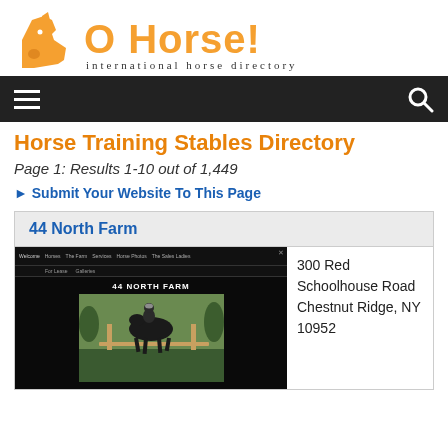[Figure (logo): O Horse! international horse directory logo with orange horse head icon and stylized text]
[Figure (screenshot): Navigation bar with hamburger menu icon on left and search icon on right, dark background]
Horse Training Stables Directory
Page 1: Results 1-10 out of 1,449
► Submit Your Website To This Page
44 North Farm
[Figure (screenshot): Screenshot of 44 North Farm website showing navigation menu and photo of horse and rider jumping]
300 Red Schoolhouse Road Chestnut Ridge, NY 10952